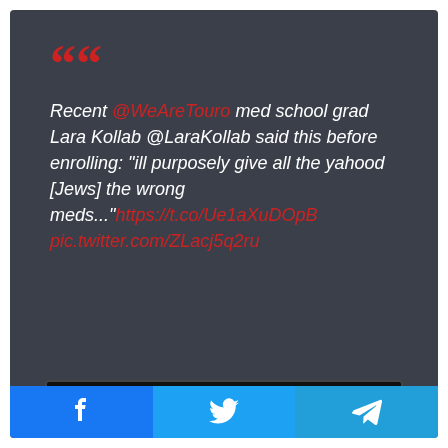““
Recent @WeAreTouro med school grad Lara Kollab @LaraKollab said this before enrolling: "ill purposely give all the yahood [Jews] the wrong meds..." https://t.co/Ue1aXuDOpB pic.twitter.com/ZLacj5q2ru
[Figure (photo): Three circular portrait photos of people on a dark background]
[Figure (infographic): Social media share footer bar with Facebook, Twitter, and Telegram icons]